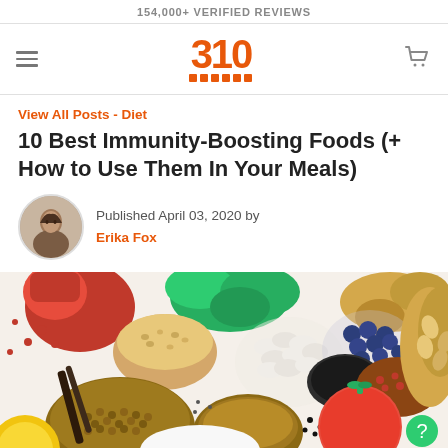154,000+ VERIFIED REVIEWS
[Figure (logo): 310 nutrition logo in orange with horizontal bar details below the number]
View All Posts - Diet
10 Best Immunity-Boosting Foods (+ How to Use Them In Your Meals)
Published April 03, 2020 by Erika Fox
[Figure (photo): Flat lay of various immunity-boosting foods including pomegranate, spinach, blueberries, beans, lentils, ginger, nuts, seeds, tomato, and other superfoods arranged on a white background]